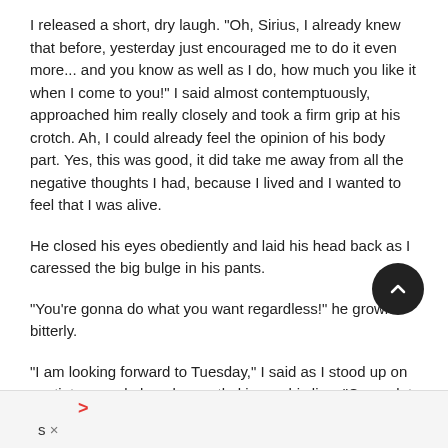I released a short, dry laugh. "Oh, Sirius, I already knew that before, yesterday just encouraged me to do it even more... and you know as well as I do, how much you like it when I come to you!" I said almost contemptuously, approached him really closely and took a firm grip at his crotch. Ah, I could already feel the opinion of his body part. Yes, this was good, it did take me away from all the negative thoughts I had, because I lived and I wanted to feel that I was alive.
He closed his eyes obediently and laid his head back as I caressed the big bulge in his pants.
"You're gonna do what you want regardless!" he growled bitterly.
"I am looking forward to Tuesday," I said as I stood up on my tiptoes and placed a gentle kiss on his lips. "Come, let us join others."
> s ×